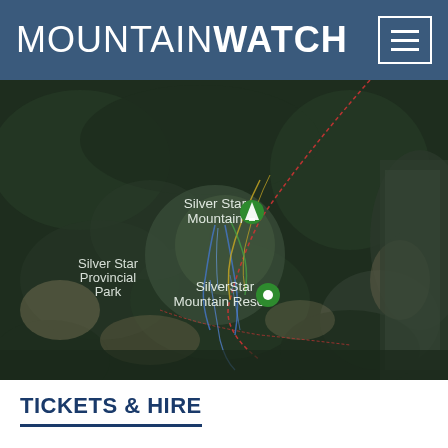MOUNTAINWATCH
[Figure (map): Aerial satellite map showing Silver Star Mountain area in British Columbia, Canada. Labels include 'Silver Star Provincial Park', 'Silver Star Mountain' with a mountain/triangle pin marker, and 'SilverStar Mountain Resort' with a green location pin. Ski runs and lifts are overlaid on the mountain in various colors (red, blue, yellow). Dense forest surrounds the mountain resort.]
TICKETS & HIRE